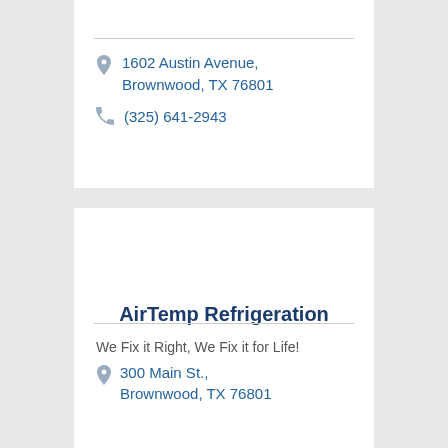1602 Austin Avenue, Brownwood, TX 76801
(325) 641-2943
AirTemp Refrigeration
We Fix it Right, We Fix it for Life!
300 Main St., Brownwood, TX 76801